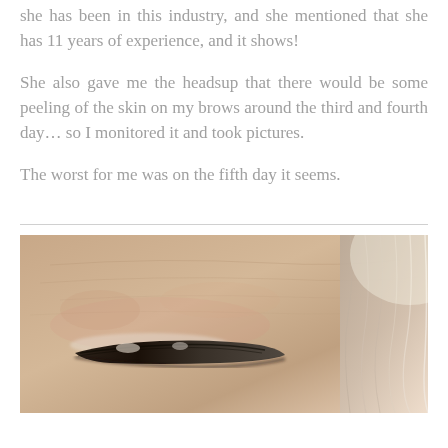she has been in this industry, and she mentioned that she has 11 years of experience, and it shows!
She also gave me the headsup that there would be some peeling of the skin on my brows around the third and fourth day... so I monitored it and took pictures.
The worst for me was on the fifth day it seems.
[Figure (photo): Close-up photo of a person's eyebrow area showing healing after a microblading or permanent makeup procedure. The eyebrow appears darkly pigmented with some peeling skin visible. The forehead skin is visible above, and hair is visible on the right side.]